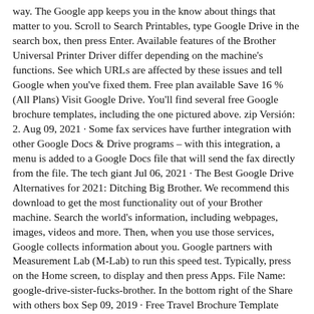way. The Google app keeps you in the know about things that matter to you. Scroll to Search Printables, type Google Drive in the search box, then press Enter. Available features of the Brother Universal Printer Driver differ depending on the machine's functions. See which URLs are affected by these issues and tell Google when you've fixed them. Free plan available Save 16 % (All Plans) Visit Google Drive. You'll find several free Google brochure templates, including the one pictured above. zip Versión: 2. Aug 09, 2021 · Some fax services have further integration with other Google Docs & Drive programs – with this integration, a menu is added to a Google Docs file that will send the fax directly from the file. The tech giant Jul 06, 2021 · The Best Google Drive Alternatives for 2021: Ditching Big Brother. We recommend this download to get the most functionality out of your Brother machine. Search the world's information, including webpages, images, videos and more. Then, when you use those services, Google collects information about you. Google partners with Measurement Lab (M-Lab) to run this speed test. Typically, press on the Home screen, to display and then press Apps. File Name: google-drive-sister-fucks-brother. In the bottom right of the Share with others box Sep 09, 2019 · Free Travel Brochure Template Google Docs Booklet. 2. 2,582. Get more storage for Google Drive, Gmail & Google Photos, access to experts, and other benefits, in a membership that you can share with your family. It's easy and free. Download. Families. Sep 08, 2021 · Google Drive Review. On the Brother machine and press Apps. Action-